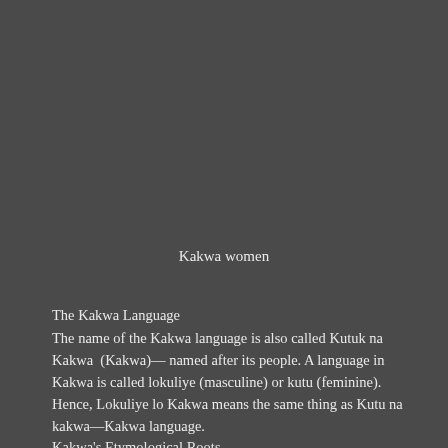Kakwa women
The Kakwa Language
The name of the Kakwa language is also called Kutuk na Kakwa (Kakwa)— named after its people. A language in Kakwa is called lokuliye (masculine) or kutu (feminine). Hence, Lokuliye lo Kakwa means the same thing as Kutu na kakwa—Kakwa language.
Kakwa's Etymological Roots
The etymological roots of the Kakwa words usually consist of two or three consonants. The roots